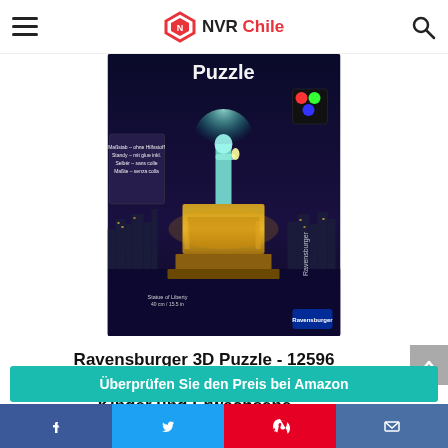NVR Chile
[Figure (photo): Ravensburger 3D puzzle product box showing Statue of Liberty at night with glowing LED lights, on dark blue nighttime New York City background. Product box reads 'Puzzle' at top. Text shows 'Statue of Liberty 40 cm / 15.5 in'. Ravensburger logo visible.]
Ravensburger 3D Puzzle - 12596 Freiheitsstatue bei Nacht - 3D puzzle für Kinder und Erwachsene,...
Überprüfen Sie den Preis bei Amazon